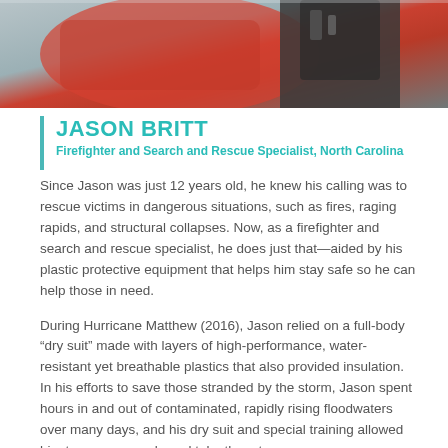[Figure (photo): Partial photo of a person in rescue/firefighter gear with orange equipment visible in background]
JASON BRITT
Firefighter and Search and Rescue Specialist, North Carolina
Since Jason was just 12 years old, he knew his calling was to rescue victims in dangerous situations, such as fires, raging rapids, and structural collapses. Now, as a firefighter and search and rescue specialist, he does just that—aided by his plastic protective equipment that helps him stay safe so he can help those in need.
During Hurricane Matthew (2016), Jason relied on a full-body “dry suit” made with layers of high-performance, water-resistant yet breathable plastics that also provided insulation. In his efforts to save those stranded by the storm, Jason spent hours in and out of contaminated, rapidly rising floodwaters over many days, and his dry suit and special training allowed him to rescue people and take them to